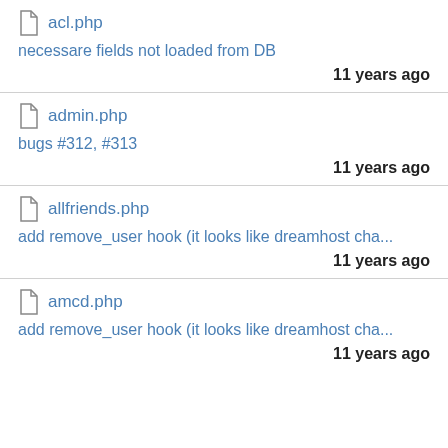acl.php — necessare fields not loaded from DB — 11 years ago
admin.php — bugs #312, #313 — 11 years ago
allfriends.php — add remove_user hook (it looks like dreamhost cha... — 11 years ago
amcd.php — add remove_user hook (it looks like dreamhost cha... — 11 years ago